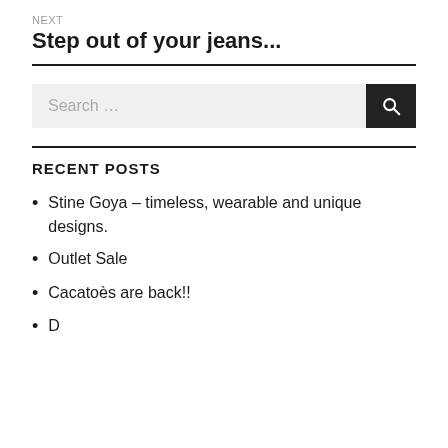NEXT
Step out of your jeans...
RECENT POSTS
Stine Goya  – timeless, wearable and unique designs.
Outlet Sale
Cacatoès are back!!